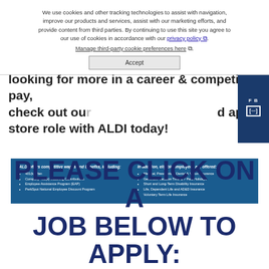We use cookies and other tracking technologies to assist with navigation, improve our products and services, assist with our marketing efforts, and provide content from third parties. By continuing to use this site you agree to our use of cookies in accordance with our privacy policy. Manage third-party cookie preferences here. Accept
looking for more in a career & competitive pay, check out our [jobs] and apply store role with ALDI today!
ALDI offers competitive wages and benefits, including:
401(k) Plan
Company 401(k) Matching Contributions
Employee Assistance Program (EAP)
PerkSpot National Employee Discount Program
In addition, eligible employees are offered:
Medical, Prescription, Dental & Vision Insurance
Generous Vacation Time & 7 Paid Holidays
Short and Long-Term Disability Insurance
Life, Dependent Life and AD&D Insurance
Voluntary Term Life Insurance
PLEASE CLICK ON A JOB BELOW TO APPLY: